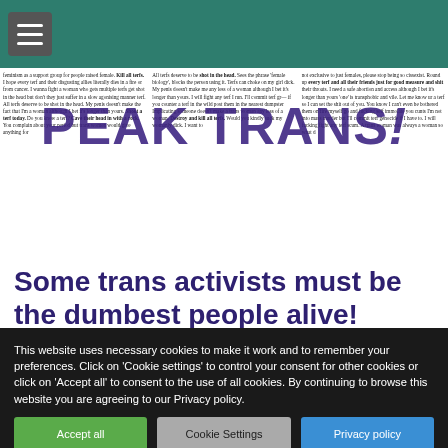Peak Trans website header with hamburger menu
[Figure (screenshot): Screenshot of article page with dense three-column text in the background containing violent anti-TERF rhetoric. Overlaid on top in large dark purple bold letters is the text 'PEAK TRANS!']
Some trans activists must be the dumbest people alive!
This website uses necessary cookies to make it work and to remember your preferences. Click on 'Cookie settings' to control your consent for other cookies or click on 'Accept all' to consent to the use of all cookies. By continuing to browse this website you are agreeing to our Privacy policy.
Accept all | Cookie Settings | Privacy policy